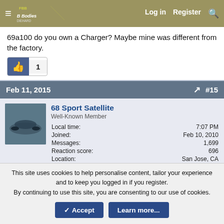FBodies.com — Log in | Register | Search
69a100 do you own a Charger? Maybe mine was different from the factory.
[Figure (other): Thumbs up like button with count of 1]
Feb 11, 2015   #15
68 Sport Satellite
Well-Known Member
Local time: 7:07 PM
Joined: Feb 10, 2010
Messages: 1,699
Reaction score: 696
Location: San Jose, CA
From recent first hand experience - I did not go with a 26"
This site uses cookies to help personalise content, tailor your experience and to keep you logged in if you register.
By continuing to use this site, you are consenting to our use of cookies.